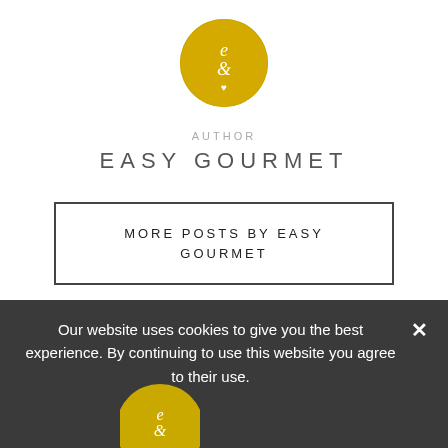[Figure (logo): Easy Gourmet circular logo with golden yellow background, script letters e and g with a heart, white text]
AUTHOR
EASY GOURMET
MORE POSTS BY EASY GOURMET
Our website uses cookies to give you the best experience. By continuing to use this website you agree to their use.